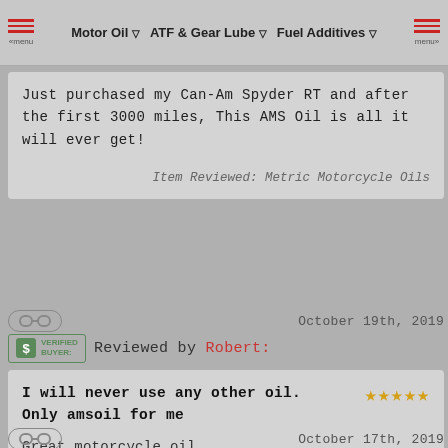Motor Oil | ATF & Gear Lube | Fuel Additives
Just purchased my Can-Am Spyder RT and after the first 3000 miles, This AMS Oil is all it will ever get!
Item Reviewed: Metric Motorcycle Oils
October 19th, 2019
VERIFIED BUYER - Reviewed by Robert:
I will never use any other oil. Only amsoil for me
Great motorcycle oil
Item Reviewed: Metric Motorcycle Oils
October 17th, 2019